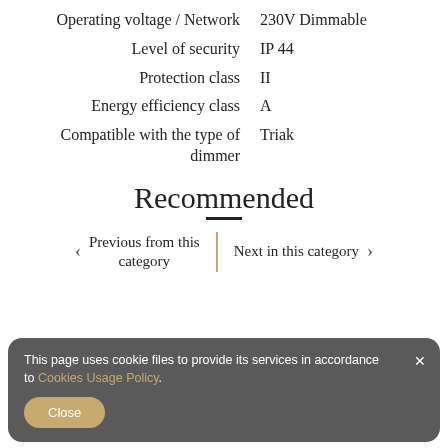| Operating voltage / Network | 230V Dimmable |
| Level of security | IP 44 |
| Protection class | II |
| Energy efficiency class | A |
| Compatible with the type of dimmer | Triak |
Recommended
< Previous from this category | Next in this category >
This page uses cookie files to provide its services in accordance to Cookies Usage Policy. Close